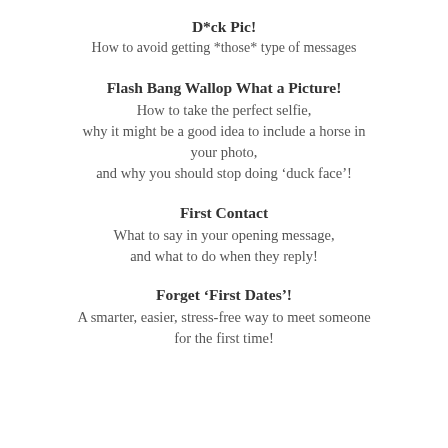D*ck Pic!
How to avoid getting *those* type of messages
Flash Bang Wallop What a Picture!
How to take the perfect selfie, why it might be a good idea to include a horse in your photo, and why you should stop doing ‘duck face’!
First Contact
What to say in your opening message, and what to do when they reply!
Forget ‘First Dates’!
A smarter, easier, stress-free way to meet someone for the first time!